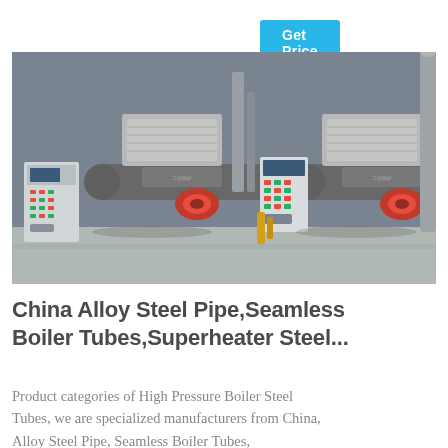Get Price
[Figure (photo): Industrial boiler room with two large cylindrical horizontal boilers, red burners at front, silver rectangular heat exchangers on top, control panels on left and center, pipes and fittings throughout, photographed in a concrete building interior.]
China Alloy Steel Pipe,Seamless Boiler Tubes,Superheater Steel...
Product categories of High Pressure Boiler Steel Tubes, we are specialized manufacturers from China, Alloy Steel Pipe, Seamless Boiler Tubes,